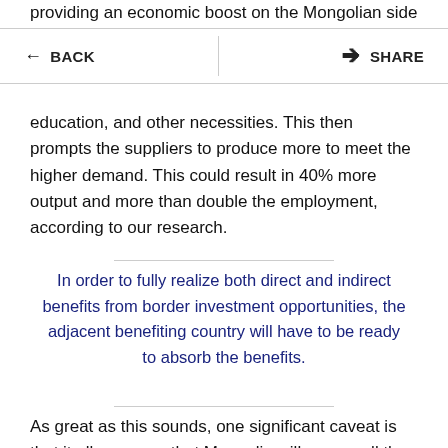providing an economic boost on the Mongolian side of the
← BACK   [navigation bar]   SHARE
education, and other necessities. This then prompts the suppliers to produce more to meet the higher demand. This could result in 40% more output and more than double the employment, according to our research.
In order to fully realize both direct and indirect benefits from border investment opportunities, the adjacent benefiting country will have to be ready to absorb the benefits.
As great as this sounds, one significant caveat is that it all assumes that Mongolia will source all the additional demand for goods and services domestically to fully benefit from the investment. This assumption, however, can be easily challenged. In reality, Mongolia may have to source inputs from other countries due to the limited